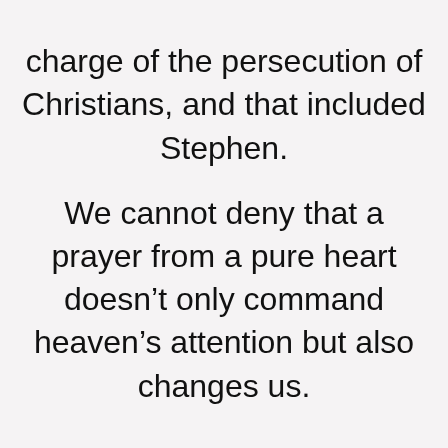charge of the persecution of Christians, and that included Stephen.
We cannot deny that a prayer from a pure heart doesn’t only command heaven’s attention but also changes us.